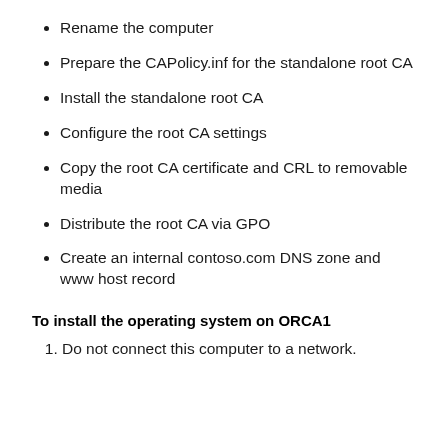Rename the computer
Prepare the CAPolicy.inf for the standalone root CA
Install the standalone root CA
Configure the root CA settings
Copy the root CA certificate and CRL to removable media
Distribute the root CA via GPO
Create an internal contoso.com DNS zone and www host record
To install the operating system on ORCA1
Do not connect this computer to a network.